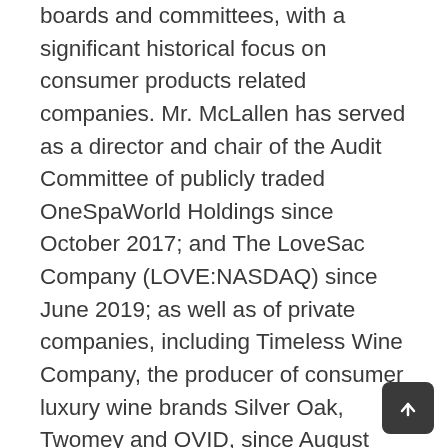boards and committees, with a significant historical focus on consumer products related companies. Mr. McLallen has served as a director and chair of the Audit Committee of publicly traded OneSpaWorld Holdings since October 2017; and The LoveSac Company (LOVE:NASDAQ) since June 2019; as well as of private companies, including Timeless Wine Company, the producer of consumer luxury wine brands Silver Oak, Twomey and OVID, since August 2016; Worldwise, a consumer branded pet products company, since April 2016; adMarketplace, a search engine advertiser, since 2012; Classic Brands, an e-commerce marketer of mattresses and related products, since August 2018; Dutchland Plastics, a roto-molding plastic manufacturer, since January 2017; Frontier